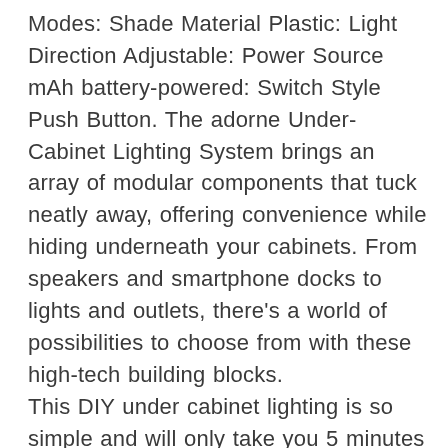Modes: Shade Material Plastic: Light Direction Adjustable: Power Source mAh battery-powered: Switch Style Push Button. The adorne Under-Cabinet Lighting System brings an array of modular components that tuck neatly away, offering convenience while hiding underneath your cabinets. From speakers and smartphone docks to lights and outlets, there's a world of possibilities to choose from with these high-tech building blocks. This DIY under cabinet lighting is so simple and will only take you 5 minutes to install! Extra light has never been so easy! 10 Best Under Cabinet Lights · Sponsored. Brilliant Evolution. Brilliant Evolution LED Puck Light | Wireless LED Under Cabinet Lighting | Under · 1. Lighting EVER. With dimmable LED lighting options from IKEA, you can wirelessly adjust the mood any time. How many lights do you need in a kitchen? That depends on your needs. ritelite wireless LED under cabinet Lights are